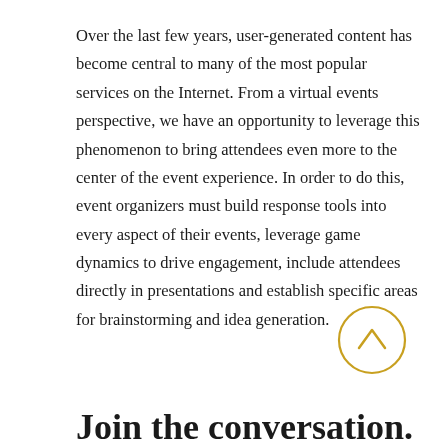Over the last few years, user-generated content has become central to many of the most popular services on the Internet. From a virtual events perspective, we have an opportunity to leverage this phenomenon to bring attendees even more to the center of the event experience. In order to do this, event organizers must build response tools into every aspect of their events, leverage game dynamics to drive engagement, include attendees directly in presentations and establish specific areas for brainstorming and idea generation.
[Figure (other): A circular arrow icon pointing upward (scroll-to-top button), outlined in gold/yellow color]
Join the conversation.